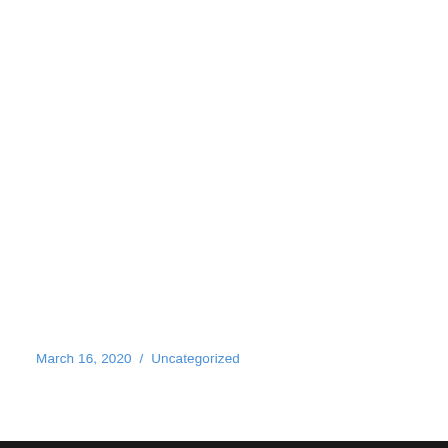March 16, 2020  /  Uncategorized